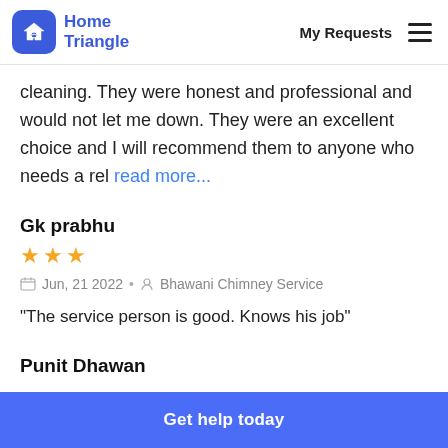Home Triangle | My Requests
cleaning. They were honest and professional and would not let me down. They were an excellent choice and I will recommend them to anyone who needs a rel read more...
Gk prabhu
★★★ (3 stars) | Jun, 21 2022 · Bhawani Chimney Service
"The service person is good. Knows his job"
Punit Dhawan
Get help today